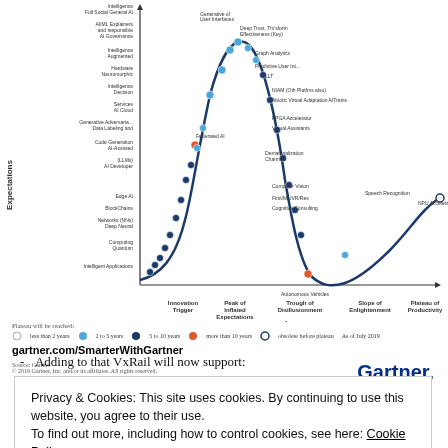[Figure (continuous-plot): Gartner Hype Cycle chart showing AI and emerging technologies positioned along the curve from Innovation Trigger through Peak of Inflated Expectations, Trough of Disillusionment, Slope of Enlightenment, to Plateau of Productivity. Technologies include Deep Neural Networks, AI Developer Tools, Federated AI, Autonomous Vehicles, Speech Recognition, GPU Accelerators, and many others. Axes: X=Time, Y=Expectations.]
gartner.com/SmarterWithGartner
Source: Gartner
© 2019 Gartner, Inc. and/or its affiliates. All rights reserved.
Adding to that VxRail will now support:
Privacy & Cookies: This site uses cookies. By continuing to use this website, you agree to their use.
To find out more, including how to control cookies, see here: Cookie Policy
and compute to the data center for a wide